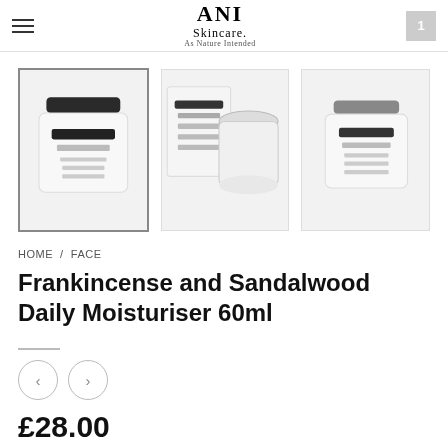ANI Skincare. As Nature Intended
[Figure (photo): Three product thumbnail images of ANI Skincare Frankincense and Sandalwood Daily Moisturiser 60ml jars]
HOME / FACE
Frankincense and Sandalwood Daily Moisturiser 60ml
£28.00